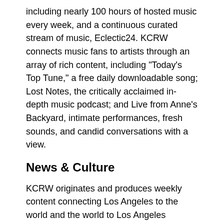including nearly 100 hours of hosted music every week, and a continuous curated stream of music, Eclectic24. KCRW connects music fans to artists through an array of rich content, including "Today's Top Tune," a free daily downloadable song; Lost Notes, the critically acclaimed in-depth music podcast; and Live from Anne's Backyard, intimate performances, fresh sounds, and candid conversations with a view.
News & Culture
KCRW originates and produces weekly content connecting Los Angeles to the world and the world to Los Angeles
KCRW's original audio work, syndicated throughout the U.S. responds with nuance to the interests and needs of Southern California. These programs include the award-winning political review, Left, Right & Center, The Treatment with Elvis Mitchell, Bookworm with Michael Silverblatt, and The Business hosted by Kim Masters.